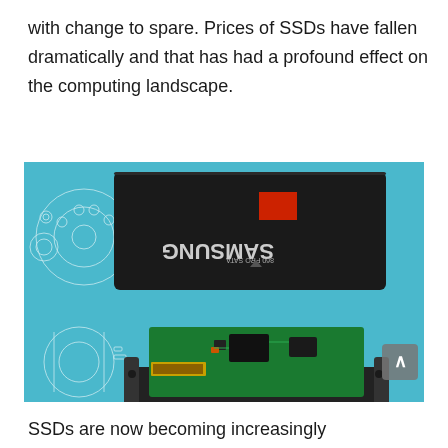with change to spare. Prices of SSDs have fallen dramatically and that has had a profound effect on the computing landscape.
[Figure (photo): An exploded view of a Samsung SSD (solid state drive) showing the black enclosure separated to reveal the green circuit board inside, set against a light blue background with technical blueprint drawings.]
SSDs are now becoming increasingly commonplace.